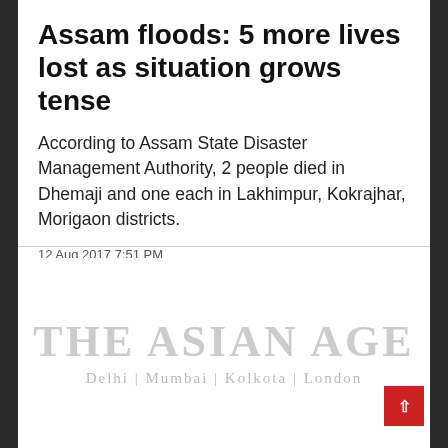Assam floods: 5 more lives lost as situation grows tense
According to Assam State Disaster Management Authority, 2 people died in Dhemaji and one each in Lakhimpur, Kokrajhar, Morigaon districts.
12 Aug 2017 7:51 PM
[Figure (logo): The Asian Age newspaper logo with subtitle: Delhi | Mumbai | Kolkota | London]